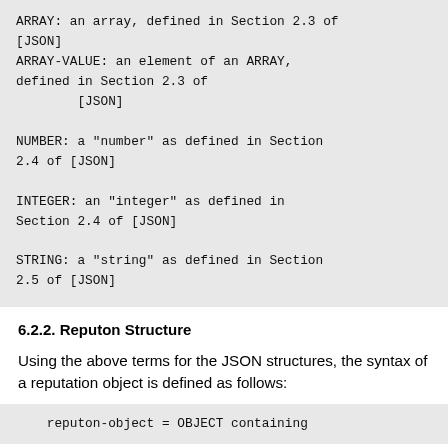ARRAY:  an array, defined in Section 2.3 of [JSON]
    ARRAY-VALUE:  an element of an ARRAY, defined in Section 2.3 of
            [JSON]

    NUMBER:  a "number" as defined in Section 2.4 of [JSON]

    INTEGER:  an "integer" as defined in Section 2.4 of [JSON]

    STRING:  a "string" as defined in Section 2.5 of [JSON]
6.2.2. Reputon Structure
Using the above terms for the JSON structures, the syntax of a reputation object is defined as follows:
reputon-object = OBJECT containing